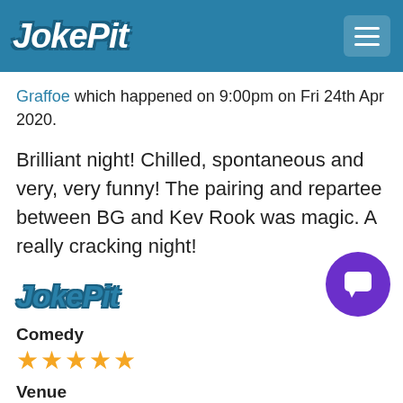JokePit
Graffoe which happened on 9:00pm on Fri 24th Apr 2020.
Brilliant night! Chilled, spontaneous and very, very funny! The pairing and repartee between BG and Kev Rook was magic. A really cracking night!
[Figure (logo): JokePit logo in blue with dark outline, italic bold text]
Comedy
[Figure (other): 5 gold stars rating for Comedy]
Venue
[Figure (other): 5 gold stars rating for Venue]
Price